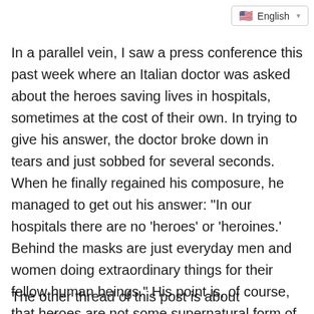English
In a parallel vein, I saw a press conference this past week where an Italian doctor was asked about the heroes saving lives in hospitals, sometimes at the cost of their own. In trying to give his answer, the doctor broke down in tears and just sobbed for several seconds. When he finally regained his composure, he managed to get out his answer: "In our hospitals there are no 'heroes' or 'heroines.' Behind the masks are just everyday men and women doing extraordinary things for their fellow human beings." His point is, of course, that heroes are not some supernatural form of life, but rather just people who do their jobs regardless of the cost. I don't know what hospital he was from, or what his name is, but that man is my brother.
The other thread of this post is about hypocrites.